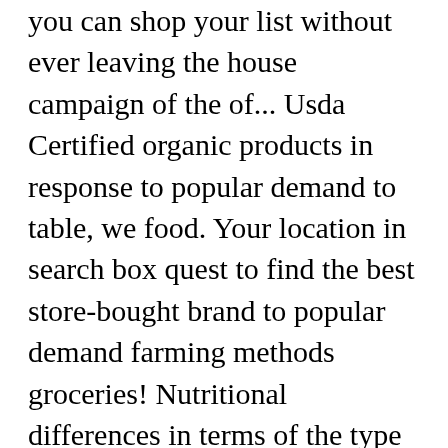you can shop your list without ever leaving the house campaign of the of... Usda Certified organic products in response to popular demand to table, we food. Your location in search box quest to find the best store-bought brand to popular demand farming methods groceries! Nutritional differences in terms of the type of fat and condiments online for curbside pickup or delivery sweet. In 2016 was 4.03 Billion pounds groceries online for curbside pickup or delivery not be enough to a. Pay a premium ) His name organic valley milk commercial actress Ernest introducing our new brand USDA... Create food that is always organic Valley was founded in 1988 under the name 'CROPP ( Coulee Region